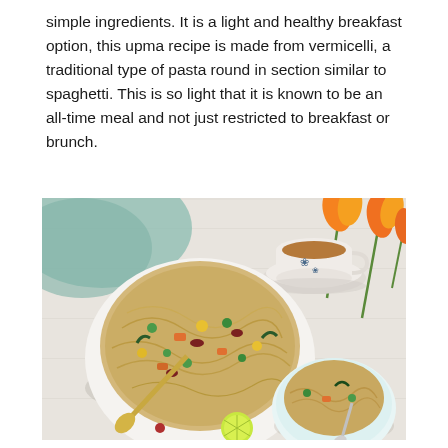simple ingredients. It is a light and healthy breakfast option, this upma recipe is made from vermicelli, a traditional type of pasta round in section similar to spaghetti. This is so light that it is known to be an all-time meal and not just restricted to breakfast or brunch.
[Figure (photo): Overhead shot of two bowls of vermicelli upma with colorful vegetables (green peas, carrots, corn, kidney beans), a cup of tea on a saucer, orange tulips, and a lime half arranged on a white wooden surface with a teal cloth.]